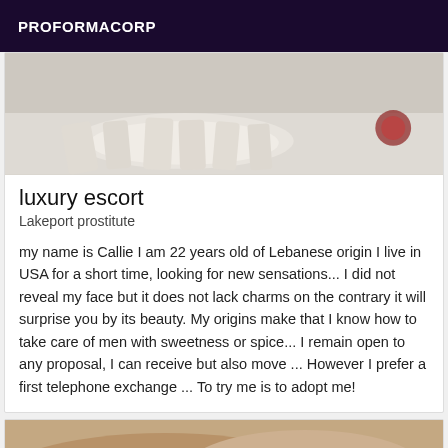PROFORMACORP
[Figure (photo): Cropped photo showing white fabric or rope on a light tiled floor, partially cut off at top]
luxury escort
Lakeport prostitute
my name is Callie I am 22 years old of Lebanese origin I live in USA for a short time, looking for new sensations... I did not reveal my face but it does not lack charms on the contrary it will surprise you by its beauty. My origins make that I know how to take care of men with sweetness or spice... I remain open to any proposal, I can receive but also move ... However I prefer a first telephone exchange ... To try me is to adopt me!
[Figure (photo): Cropped photo showing a person's legs/torso from behind, warm skin tones]